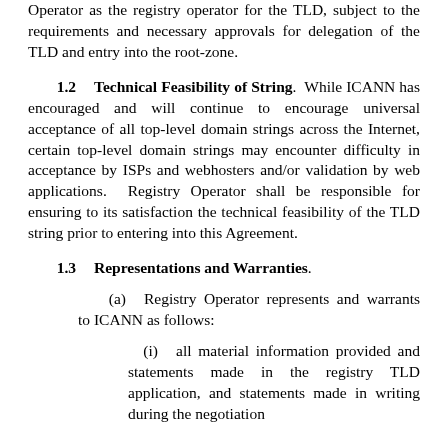Operator as the registry operator for the TLD, subject to the requirements and necessary approvals for delegation of the TLD and entry into the root-zone.
1.2 Technical Feasibility of String. While ICANN has encouraged and will continue to encourage universal acceptance of all top-level domain strings across the Internet, certain top-level domain strings may encounter difficulty in acceptance by ISPs and webhosters and/or validation by web applications. Registry Operator shall be responsible for ensuring to its satisfaction the technical feasibility of the TLD string prior to entering into this Agreement.
1.3 Representations and Warranties.
(a) Registry Operator represents and warrants to ICANN as follows:
(i) all material information provided and statements made in the registry TLD application, and statements made in writing during the negotiation